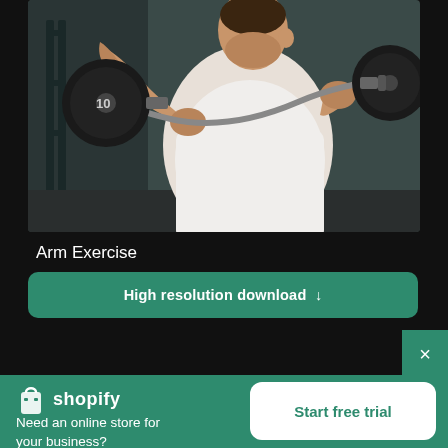[Figure (photo): Man in white t-shirt doing barbell curl exercise in a gym, showing arm muscles, weight plate marked 10 visible on left side, dark gym background]
Arm Exercise
High resolution download ↓
[Figure (logo): Shopify logo with shopping bag icon and 'shopify' text in white]
Need an online store for your business?
Start free trial